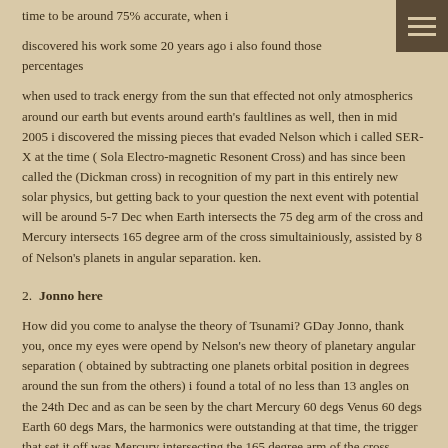time to be around 75% accurate, when i
discovered his work some 20 years ago i also found those percentages
when used to track energy from the sun that effected not only atmospherics around our earth but events around earth's faultlines as well, then in mid 2005 i discovered the missing pieces that evaded Nelson which i called SER-X at the time ( Sola Electro-magnetic Resonent Cross) and has since been called the (Dickman cross) in recognition of my part in this entirely new solar physics, but getting back to your question the next event with potential will be around 5-7 Dec when Earth intersects the 75 deg arm of the cross and Mercury intersects 165 degree arm of the cross simultainiously, assisted by 8 of Nelson's planets in angular separation. ken.
2.  Jonno here
How did you come to analyse the theory of Tsunami? GDay Jonno, thank you, once my eyes were opend by Nelson's new theory of planetary angular separation ( obtained by subtracting one planets orbital position in degrees around the sun from the others) i found a total of no less than 13 angles on the 24th Dec and as can be seen by the chart Mercury 60 degs Venus 60 degs Earth 60 degs Mars, the harmonics were outstanding at that time, the trigger that set it off was Mercury intersecting the 165 degree arm of the cross, incedently the self same planet and position that triggered Mt Vesuvius (79 AD) and the Sichuan Earthquake( 2008) event in China just prior to the olympics which is proof that the solar system hasn't changed in the last 2000 years. Ken.
Back to top